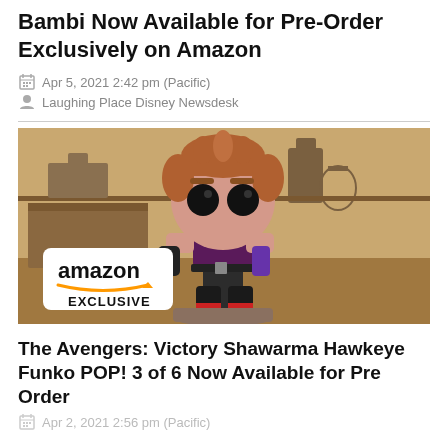Bambi Now Available for Pre-Order Exclusively on Amazon
Apr 5, 2021 2:42 pm (Pacific)
Laughing Place Disney Newsdesk
[Figure (photo): Funko POP figure of Hawkeye from The Avengers: Victory Shawarma, sitting on a rock/books, wearing dark pants and a purple/maroon top, with brown hair, against a cartoon kitchen background. An 'amazon EXCLUSIVE' badge is shown in the lower left corner.]
The Avengers: Victory Shawarma Hawkeye Funko POP! 3 of 6 Now Available for Pre Order
Apr 2, 2021 2:56 pm (Pacific)